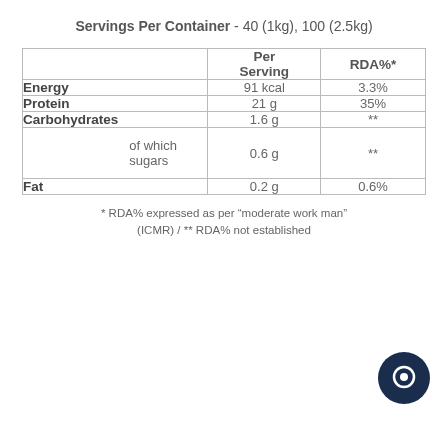Servings Per Container - 40 (1kg), 100 (2.5kg)
|  | Per Serving | RDA%* |
| --- | --- | --- |
| Energy | 91 kcal | 3.3% |
| Protein | 21 g | 35% |
| Carbohydrates | 1.6 g | ** |
| of which sugars | 0.6 g | ** |
| Fat | 0.2 g | 0.6% |
* RDA% expressed as per "moderate work man" (ICMR) / ** RDA% not established